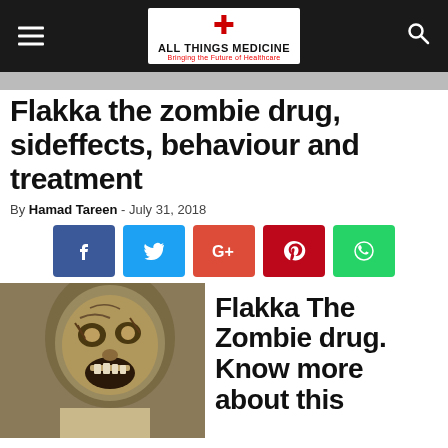ALL THINGS MEDICINE — Bringing the Future of Healthcare
Flakka the zombie drug, sideffects, behaviour and treatment
By Hamad Tareen - July 31, 2018
[Figure (infographic): Social share buttons: Facebook (blue), Twitter (light blue), Google+ (red-orange), Pinterest (red), WhatsApp (green)]
[Figure (photo): Zombie-like creature face close-up with text overlay: Flakka The Zombie drug. Know more about this]